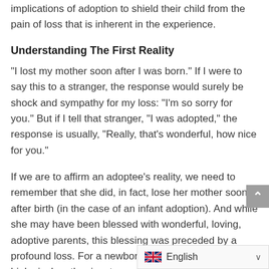implications of adoption to shield their child from the pain of loss that is inherent in the experience.
Understanding The First Reality
“I lost my mother soon after I was born.” If I were to say this to a stranger, the response would surely be shock and sympathy for my loss: “I’m so sorry for you.” But if I tell that stranger, “I was adopted,” the response is usually, “Really, that’s wonderful, how nice for you.”
If we are to affirm an adoptee’s reality, we need to remember that she did, in fact, lose her mother soon after birth (in the case of an infant adoption). And while she may have been blessed with wonderful, loving, adoptive parents, this blessing was preceded by a profound loss. For a newborn to be separated from her biological mother is a trauma, both psychological and physiologi... processed and manifested in...